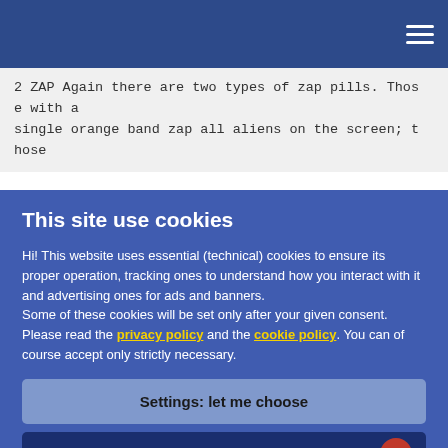2 ZAP Again there are two types of zap pills. Those with a single orange band zap all aliens on the screen; t hose
This site use cookies
Hi! This website uses essential (technical) cookies to ensure its proper operation, tracking ones to understand how you interact with it and advertising ones for ads and banners.
Some of these cookies will be set only after your given consent.
Please read the privacy policy and the cookie policy. You can of course accept only strictly necessary.
Settings: let me choose
Accept all